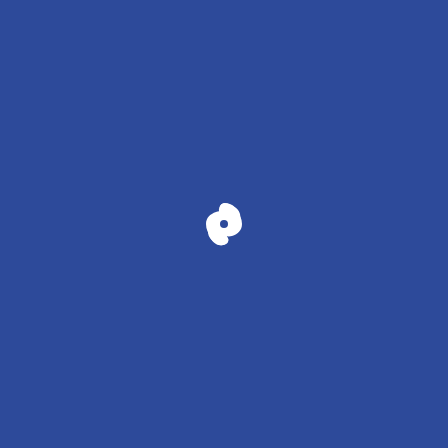[Figure (logo): White swirling S-shaped logo (Samsonite-style spiral) centered on a solid dark blue background]